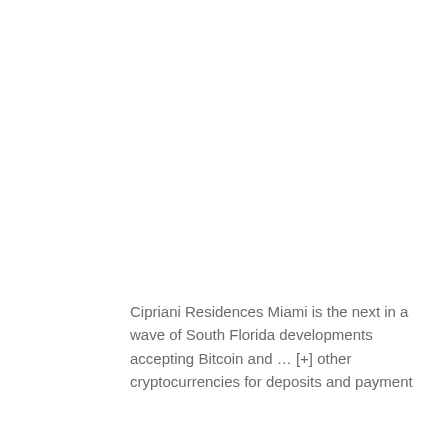Cipriani Residences Miami is the next in a wave of South Florida developments accepting Bitcoin and … [+] other cryptocurrencies for deposits and payment